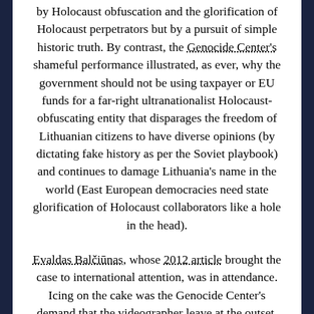by Holocaust obfuscation and the glorification of Holocaust perpetrators but by a pursuit of simple historic truth. By contrast, the Genocide Center's shameful performance illustrated, as ever, why the government should not be using taxpayer or EU funds for a far-right ultranationalist Holocaust-obfuscating entity that disparages the freedom of Lithuanian citizens to have diverse opinions (by dictating fake history as per the Soviet playbook) and continues to damage Lithuania's name in the world (East European democracies need state glorification of Holocaust collaborators like a hole in the head).
Evaldas Balčiūnas, whose 2012 article brought the case to international attention, was in attendance. Icing on the cake was the Genocide Center's demand that the videographer leave at the outset. So much for government sponsorship of an open and . . . (truncated)